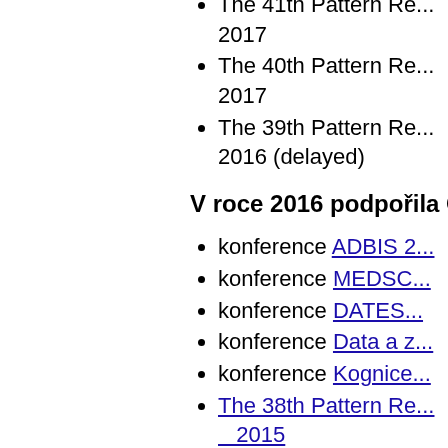The 41th Pattern Re... 2017
The 40th Pattern Re... 2017
The 39th Pattern Re... 2016 (delayed)
V roce 2016 podpořila Č...
konference ADBIS 2...
konference MEDSC...
konference DATES...
konference Data a z...
konference Kognice...
The 38th Pattern Re... 2015
V roce 2015 podpořila Č...
workshop ADA 200...
konference SOFSE...